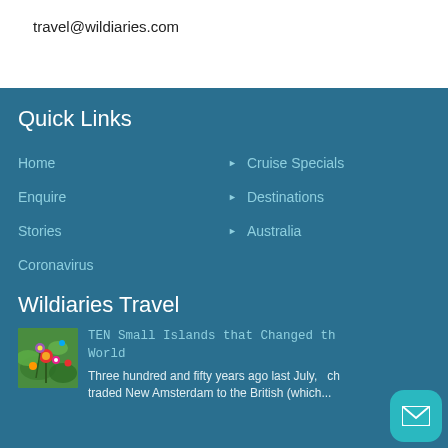travel@wildiaries.com
Quick Links
Home
▶ Cruise Specials
Enquire
▶ Destinations
Stories
▶ Australia
Coronavirus
Wildiaries Travel
[Figure (photo): Colorful close-up photo of flowers or decorative items]
TEN Small Islands that Changed the World
Three hundred and fifty years ago last July, ch traded New Amsterdam to the British (which...